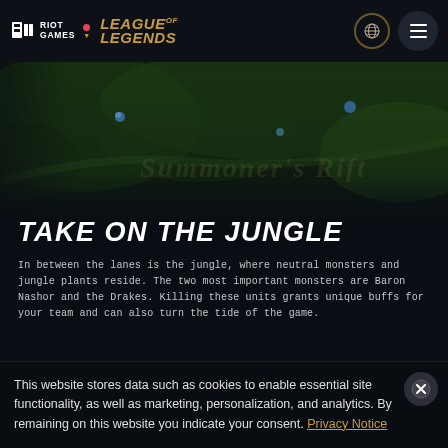RIOT GAMES | LEAGUE OF LEGENDS
[Figure (screenshot): League of Legends game map screenshot showing jungle area with green terrain and dark overlay]
TAKE ON THE JUNGLE
In between the lanes is the jungle, where neutral monsters and jungle plants reside. The two most important monsters are Baron Nashor and the Drakes. Killing these units grants unique buffs for your team and can also turn the tide of the game.
This website stores data such as cookies to enable essential site functionality, as well as marketing, personalization, and analytics. By remaining on this website you indicate your consent. Privacy Notice